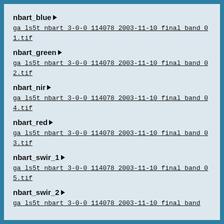nbart_blue
ga_ls5t_nbart_3-0-0_114078_2003-11-10_final_band_01.tif
nbart_green
ga_ls5t_nbart_3-0-0_114078_2003-11-10_final_band_02.tif
nbart_nir
ga_ls5t_nbart_3-0-0_114078_2003-11-10_final_band_04.tif
nbart_red
ga_ls5t_nbart_3-0-0_114078_2003-11-10_final_band_03.tif
nbart_swir_1
ga_ls5t_nbart_3-0-0_114078_2003-11-10_final_band_05.tif
nbart_swir_2
ga_ls5t_nbart_3-0-0_114078_2003-11-10_final_band